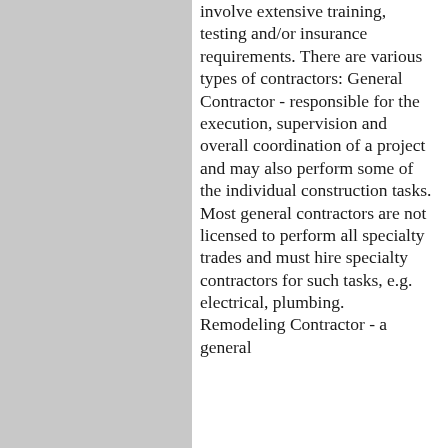involve extensive training, testing and/or insurance requirements. There are various types of contractors: General Contractor - responsible for the execution, supervision and overall coordination of a project and may also perform some of the individual construction tasks. Most general contractors are not licensed to perform all specialty trades and must hire specialty contractors for such tasks, e.g. electrical, plumbing. Remodeling Contractor - a general